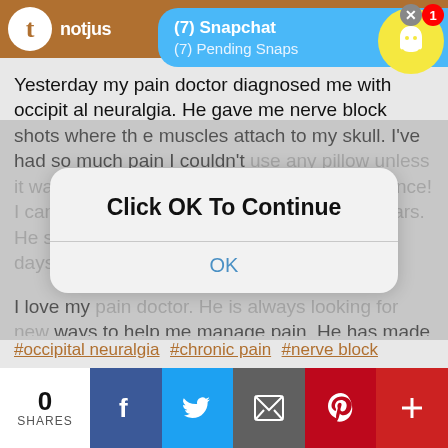[Figure (screenshot): Tumblr/notjust app top bar with logo and Snapchat notification popup showing (7) Snapchat and (7) Pending Snaps, with Snapchat ghost icon circle in top right]
Yesterday my pain doctor diagnosed me with occipital neuralgia. He gave me nerve block shots where the muscles attach to my skull. I've had so much pain I couldn't use any pillow unless it was 100% down. I can already feel a difference! I can turn my head further than I could for years. He said it might improve more over next 8-10 days.
[Figure (screenshot): Modal dialog overlay with text 'Click OK To Continue' and an OK button]
I love my pain doctor. He is always looking for new ways to help me manage pain. He has made such a huge difference in my life.
#occipital neuralgia #chronic pain #nerve block
[Figure (screenshot): Social share bar showing 0 SHARES, Facebook, Twitter, Email, Pinterest, and plus buttons]